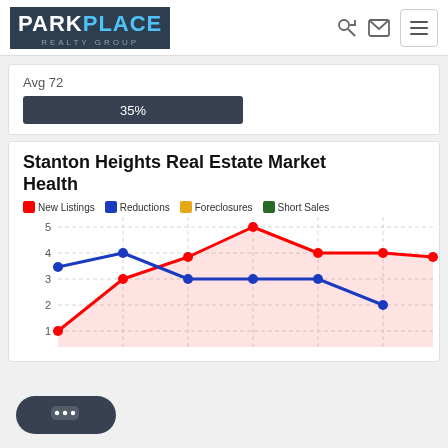Park Place Realty Group
Avg 72
[Figure (other): Progress bar showing 35%]
Stanton Heights Real Estate Market Health
[Figure (line-chart): Stanton Heights Real Estate Market Health]